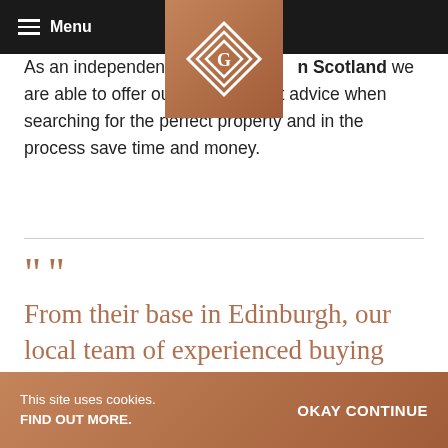Menu
[Figure (logo): Diamond-shaped geometric logo in white on copper/bronze background]
As an independent property finder in Scotland we are able to offer our clients expert advice when searching for the perfect property and in the process save time and money.
From their base in Edinburgh, our local team of experienced buying agents work with private clients seeking a multitude of property types across all
This site uses cookies. FIND OUT MORE.  OKAY CONTINUE